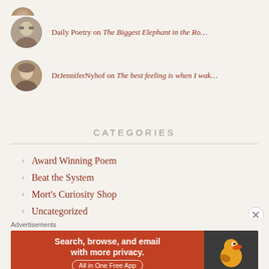Daily Poetry on The Biggest Elephant in the Ro…
DrJenniferNyhof on The best feeling is when I wak…
CATEGORIES
Award Winning Poem
Beat the System
Mort's Curiosity Shop
Uncategorized
[Figure (infographic): DuckDuckGo advertisement banner: orange background with text 'Search, browse, and email with more privacy. All in One Free App' and DuckDuckGo duck logo on dark background]
Advertisements